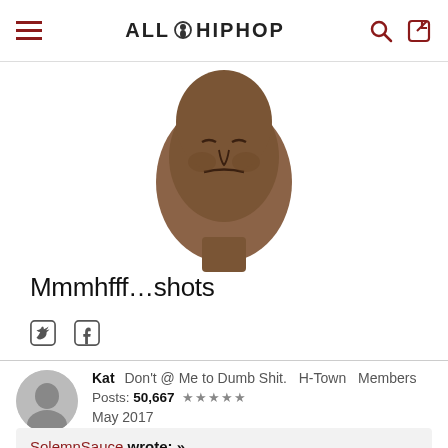ALLHIPHOP
[Figure (photo): Close-up photo of a man's face making a pained/grimacing expression, cropped at the top, against a white background]
Mmmhfff…shots
[Figure (infographic): Social share icons: Twitter bird icon and Facebook f icon]
Kat  Don't @ Me to Dumb Shit.  H-Town  Members  Posts: 50,667  ★★★★★  May 2017
SolemnSauce wrote: »
show previous quotes